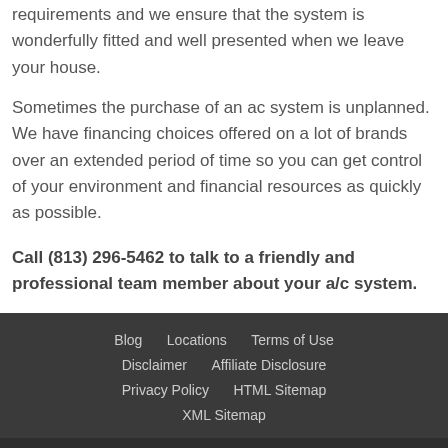requirements and we ensure that the system is wonderfully fitted and well presented when we leave your house.
Sometimes the purchase of an ac system is unplanned. We have financing choices offered on a lot of brands over an extended period of time so you can get control of your environment and financial resources as quickly as possible.
Call (813) 296-5462 to talk to a friendly and professional team member about your a/c system.
Blog  Locations  Terms of Use  Disclaimer  Affiliate Disclosure  Privacy Policy  HTML Sitemap  XML Sitemap
Social icons: Facebook, Twitter, Google+, Instagram, RSS